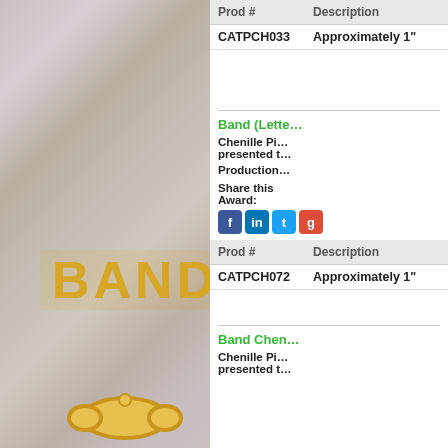[Figure (photo): Gold BAND letter chenille pin on marble textured background]
| Prod # | Description |
| --- | --- |
| CATPCH033 | Approximately 1" |
Band (Lette…
Chenille Pi… presented t…
Production…
Share this Award:
[Figure (photo): Social sharing icons: Facebook, LinkedIn, Twitter, Google+]
| Prod # | Description |
| --- | --- |
| CATPCH072 | Approximately 1" |
Band Chen…
Chenille Pi… presented t…
[Figure (photo): Gold ornate band chenille pin on marble textured background]